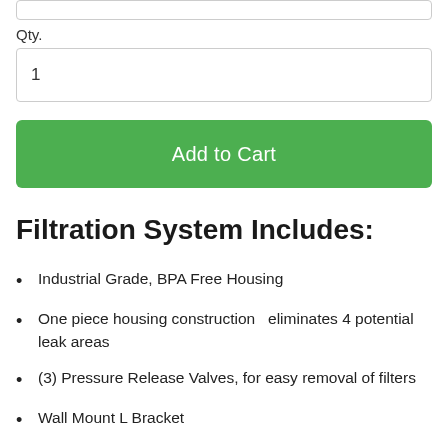Qty.
1
Add to Cart
Filtration System Includes:
Industrial Grade, BPA Free Housing
One piece housing construction  eliminates 4 potential leak areas
(3) Pressure Release Valves, for easy removal of filters
Wall Mount L Bracket
(4) Pressure Gauges take the guesswork out of knowing